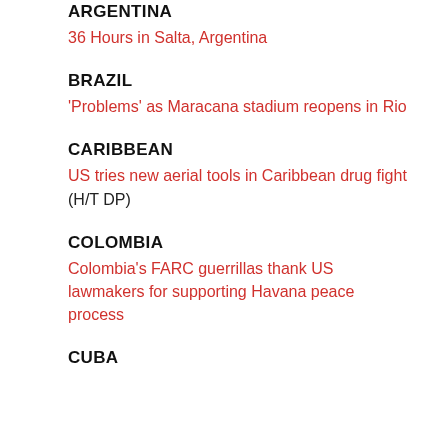ARGENTINA
36 Hours in Salta, Argentina
BRAZIL
‘Problems’ as Maracana stadium reopens in Rio
CARIBBEAN
US tries new aerial tools in Caribbean drug fight (H/T DP)
COLOMBIA
Colombia’s FARC guerrillas thank US lawmakers for supporting Havana peace process
CUBA